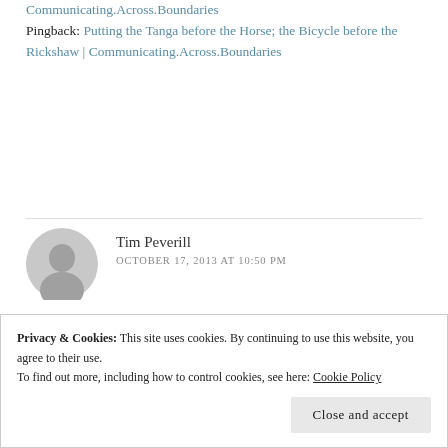Communicating.Across.Boundaries
Pingback: Putting the Tanga before the Horse; the Bicycle before the Rickshaw | Communicating.Across.Boundaries
Tim Peverill
OCTOBER 17, 2013 AT 10:50 PM
We are allowed to express rage in our prayers. More than half of the psalms are laments laced with rage, and the psalms were the book of common prayer for Jesus and his disciples. If we believe God is both angry and sad about these things, we should enter into His
Privacy & Cookies: This site uses cookies. By continuing to use this website, you agree to their use.
To find out more, including how to control cookies, see here: Cookie Policy